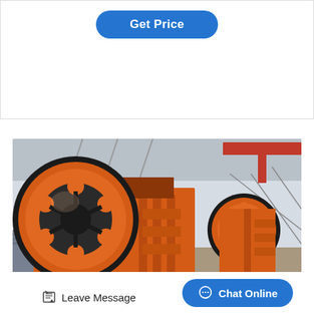[Figure (other): Blue rounded button labeled 'Get Price' on white background with thin border]
[Figure (photo): Industrial jaw crusher machines in orange/red color inside a factory warehouse. Large flywheel visible on the left machine. Two machines shown, one in foreground and one in background.]
Leave Message
Chat Online